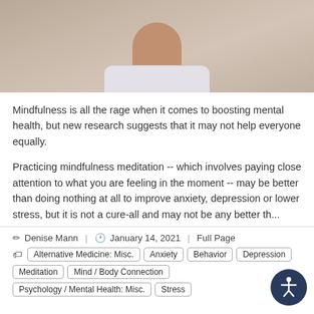[Figure (photo): Close-up photo of a person wearing a white dotted shirt, cropped to show neck and lower face area]
Mindfulness is all the rage when it comes to boosting mental health, but new research suggests that it may not help everyone equally.
Practicing mindfulness meditation -- which involves paying close attention to what you are feeling in the moment -- may be better than doing nothing at all to improve anxiety, depression or lower stress, but it is not a cure-all and may not be any better th...
Denise Mann | January 14, 2021 | Full Page
Alternative Medicine: Misc. Anxiety Behavior Depression Meditation Mind / Body Connection Psychology / Mental Health: Misc. Stress